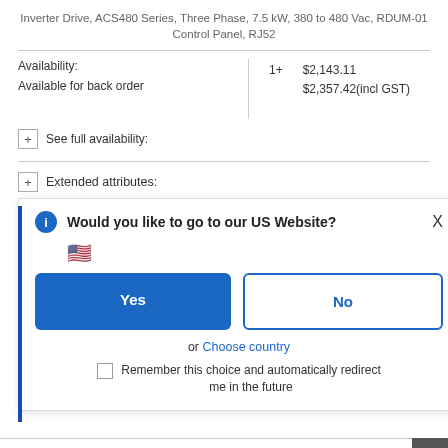Inverter Drive, ACS480 Series, Three Phase, 7.5 kW, 380 to 480 Vac, RDUM-01 Control Panel, RJ52
| Availability | Qty | Price |
| --- | --- | --- |
| Available for back order | 1+ | $2,143.11
$2,357.42(incl GST) |
+ See full availability:
+ Extended attributes:
[Figure (screenshot): Modal dialog asking 'Would you like to go to our US Website?' with US flag emoji, Yes and No buttons, 'or Choose country' link, and checkbox for 'Remember this choice and automatically redirect me in the future']